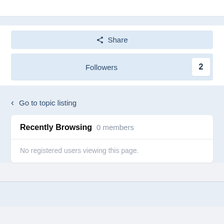Share
Followers  2
Go to topic listing
Recently Browsing  0 members
No registered users viewing this page.